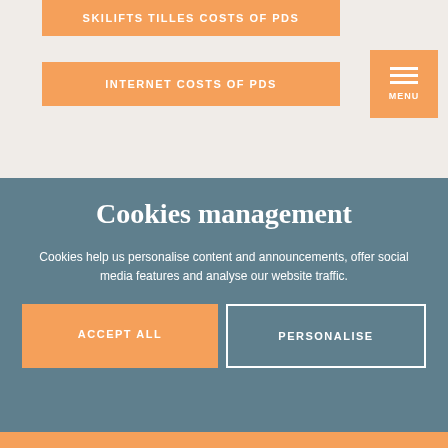SKILIFTS TILLES COSTS OF PDS
INTERNET COSTS OF PDS
Cookies management
Cookies help us personalise content and announcements, offer social media features and analyse our website traffic.
ACCEPT ALL
PERSONALISE